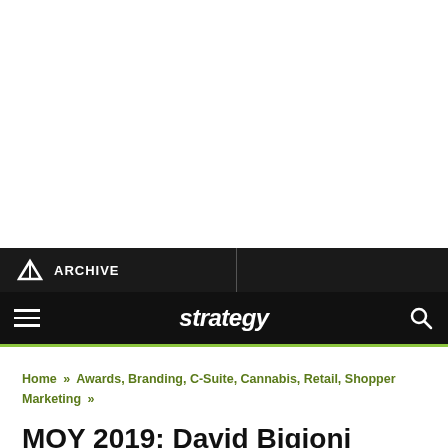ARCHIVE
strategy
Home » Awards, Branding, C-Suite, Cannabis, Retail, Shopper Marketing »
MOY 2019: David Bigioni begins on